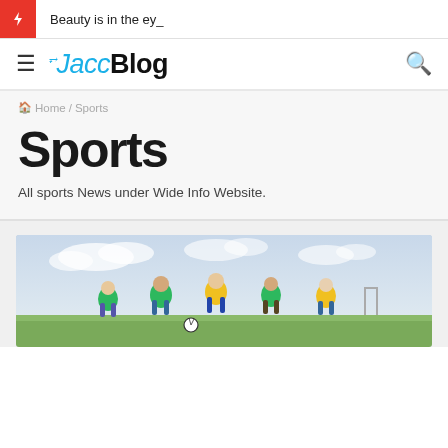Beauty is in the ey_
JaccBlog
Home / Sports
Sports
All sports News under Wide Info Website.
[Figure (photo): Children running on a sports field, wearing green and yellow jerseys, outdoor daytime setting]